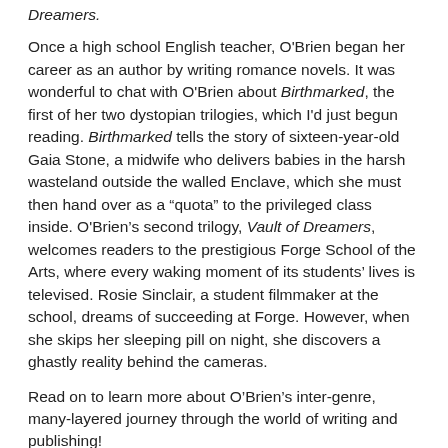Dreamers.
Once a high school English teacher, O'Brien began her career as an author by writing romance novels. It was wonderful to chat with O'Brien about Birthmarked, the first of her two dystopian trilogies, which I'd just begun reading. Birthmarked tells the story of sixteen-year-old Gaia Stone, a midwife who delivers babies in the harsh wasteland outside the walled Enclave, which she must then hand over as a “quota” to the privileged class inside. O'Brien’s second trilogy, Vault of Dreamers, welcomes readers to the prestigious Forge School of the Arts, where every waking moment of its students’ lives is televised. Rosie Sinclair, a student filmmaker at the school, dreams of succeeding at Forge. However, when she skips her sleeping pill on night, she discovers a ghastly reality behind the cameras.
Read on to learn more about O’Brien’s inter-genre, many-layered journey through the world of writing and publishing!
Rylee Thomas: So, let’s talk about Birthmarked, which I just started this week. I’m about halfway through the story so far, it’s been gripping. I haven’t read a dystopia in so long. I wanted to ask you, how did you create Gaia as a character? Why did you want to write the story of a girl who’s a midwife and also a bit of an outcast? I was very intrigued